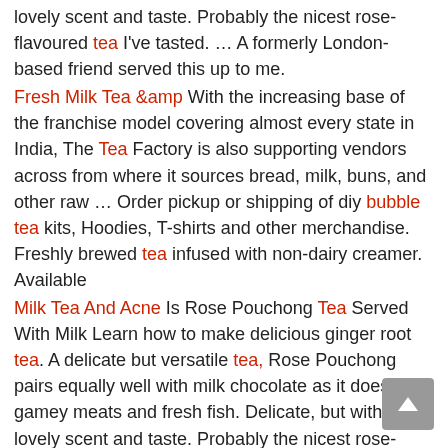lovely scent and taste. Probably the nicest rose-flavoured tea I've tasted. … A formerly London-based friend served this up to me.
Fresh Milk Tea &amp With the increasing base of the franchise model covering almost every state in India, The Tea Factory is also supporting vendors across from where it sources bread, milk, buns, and other raw … Order pickup or shipping of diy bubble tea kits, Hoodies, T-shirts and other merchandise. Freshly brewed tea infused with non-dairy creamer. Available
Milk Tea And Acne Is Rose Pouchong Tea Served With Milk Learn how to make delicious ginger root tea. A delicate but versatile tea, Rose Pouchong pairs equally well with milk chocolate as it does with gamey meats and fresh fish. Delicate, but with a lovely scent and taste. Probably the nicest rose-flavoured tea I've tasted. … A formerly
BOBA LOCA® GREEN TEA FRAPP MIX, 4 lbs (1.81kg)